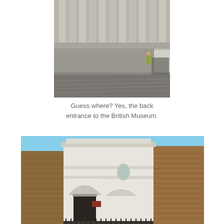[Figure (photo): Back entrance to the British Museum showing stone facade, columns, wide paved courtyard, and a person in a high-visibility vest near a gate]
Guess where? Yes, the back entrance to the British Museum.
[Figure (photo): Close-up of a white neoclassical gatehouse/entrance building with arched doorways and brick walls on either side, with iron railings in the foreground]